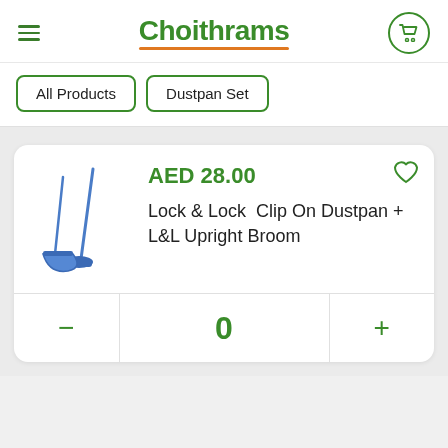Choithrams
All Products
Dustpan Set
[Figure (photo): Blue dustpan set with upright broom and clip-on dustpan]
AED 28.00
Lock & Lock  Clip On Dustpan + L&L Upright Broom
0